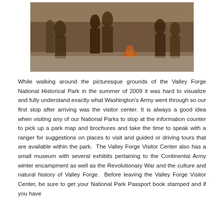[Figure (photo): Historical painting depicting soldiers of Washington's Continental Army at Valley Forge in winter, with figures in colonial-era military uniforms gathered around a fire in a snowy landscape.]
While walking around the picturesque grounds of the Valley Forge National Historical Park in the summer of 2009 it was hard to visualize and fully understand exactly what Washington's Army went through so our first stop after arriving was the visitor center. It is always a good idea when visiting any of our National Parks to stop at the information counter to pick up a park map and brochures and take the time to speak with a ranger for suggestions on places to visit and guided or driving tours that are available within the park.  The Valley Forge Visitor Center also has a small museum with several exhibits pertaining to the Continental Army winter encampment as well as the Revolutionary War and the culture and natural history of Valley Forge.  Before leaving the Valley Forge Visitor Center, be sure to get your National Park Passport book stamped and if you have